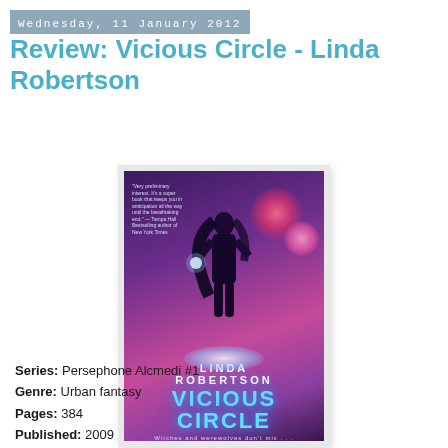Wednesday, 11 January 2012
Review: Vicious Circle - Linda Robertson
[Figure (photo): Book cover of 'Vicious Circle' by Linda Robertson. Shows a woman with long dark hair in a purple/dark fantasy setting with glowing orbs. Cover text reads: Linda Robertson, Vicious Circle, Witches and werewolves don't mix...]
Series: Persephone Alcmedi #1
Genre: Urban fantasy
Pages: 384
Published: 2009
Publisher: Pocket
Source: My bookshelf